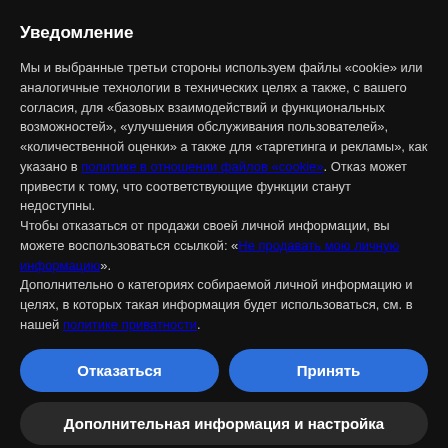Уведомление
Мы и выбранные третьи стороны используем файлы «cookie» или аналогичные технологии в технических целях а также, с вашего согласия, для «базовых взаимодействий и функциональных возможностей», «улучшения обслуживания пользователей», «количественной оценки» а также для «таргетинга и рекламы», как указано в политике в отношении файлов «cookie». Отказ может привести к тому, что соответствующие функции станут недоступны.
Чтобы отказаться от продажи своей личной информации, вы можете воспользоваться ссылкой: «Не продавать мою личную информацию».
Дополнительно о категориях собираемой личной информацию и целях, в которых такая информация будет использоваться, см. в нашей политике приватности.
Отказаться
Принять
Дополнительная информация и настройка